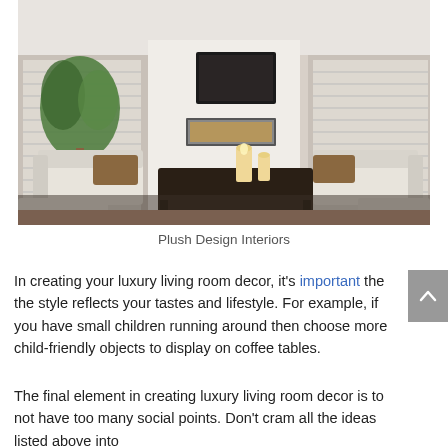[Figure (photo): Luxury living room interior with white sofas, dark wood coffee table with candles, fireplace with TV above, large windows with shutters, and a green plant]
Plush Design Interiors
In creating your luxury living room decor, it's important the the style reflects your tastes and lifestyle. For example, if you have small children running around then choose more child-friendly objects to display on coffee tables.
The final element in creating luxury living room decor is to not have too many social points. Don't cram all the ideas listed above into one room. Pick and continue is kind of each interior element...